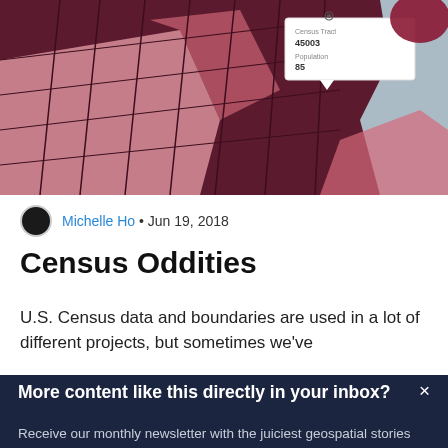[Figure (map): Aerial/choropleth map showing census tract boundaries with dark maroon, light pink, and light blue color regions. A tooltip popup shows census data values.]
Michelle Ho • Jun 19, 2018
Census Oddities
U.S. Census data and boundaries are used in a lot of different projects, but sometimes we've
More content like this directly in your inbox?
Receive our monthly newsletter with the juiciest geospatial stories out there.